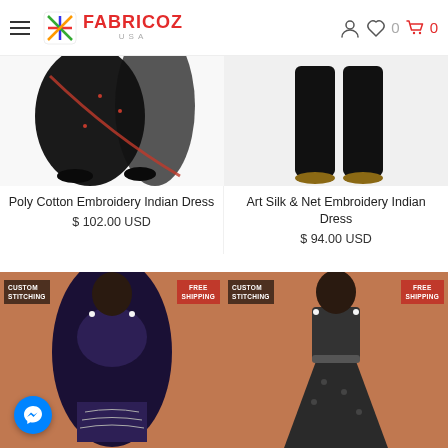FABRICOZ USA - navigation header with hamburger menu, logo, user icon, wishlist (0), cart (0)
[Figure (photo): Poly Cotton Embroidery Indian Dress - black dress with embroidery, model legs visible, white background]
[Figure (photo): Art Silk & Net Embroidery Indian Dress - black outfit with dupatta, model legs visible]
Poly Cotton Embroidery Indian Dress
$ 102.00 USD
Art Silk & Net Embroidery Indian Dress
$ 94.00 USD
[Figure (photo): Dark navy embroidered Indian Anarkali dress, CUSTOM STITCHING and FREE SHIPPING badges, model on terracotta background]
[Figure (photo): Dark grey printed Indian Anarkali dress, CUSTOM STITCHING and FREE SHIPPING badges, model on terracotta background]